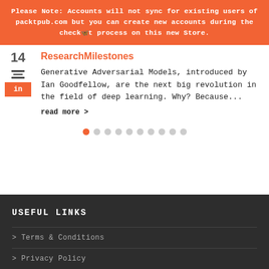Please Note: Accounts will not sync for existing users of packtpub.com but you can create new accounts during the checkout process on this new Store.
ResearchMilestones
Generative Adversarial Models, introduced by Ian Goodfellow, are the next big revolution in the field of deep learning. Why? Because...
read more >
USEFUL LINKS
> Terms & Conditions
> Privacy Policy